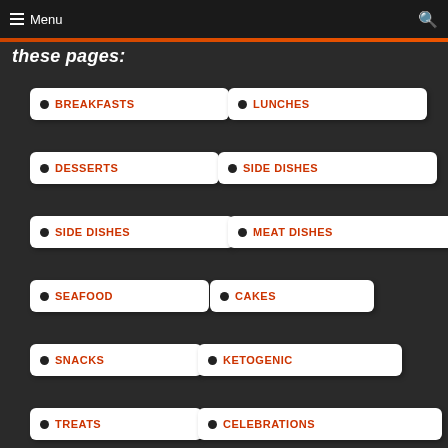Menu
these pages:
BREAKFASTS
LUNCHES
DESSERTS
SIDE DISHES
SIDE DISHES
MEAT DISHES
SEAFOOD
CAKES
SNACKS
KETOGENIC
TREATS
CELEBRATIONS